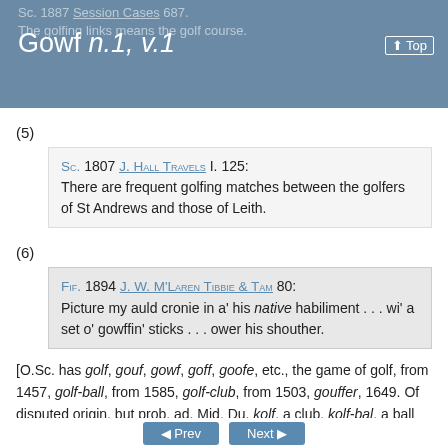Gowf n.1, v.1
Sc. 1887 Session Cases 687. The golfing links means the golf course.
(5)
Sc. 1807 J. Hall Travels I. 125: There are frequent golfing matches between the golfers of St Andrews and those of Leith.
(6)
Fif. 1894 J. W. M'Laren Tibbie & Tam 80: Picture my auld cronie in a' his native habiliment . . . wi' a set o' gowffin' sticks . . . ower his shouther.
[O.Sc. has golf, gouf, gowf, goff, goofe, etc., the game of golf, from 1457, golf-ball, from 1585, golf-club, from 1503, gouffer, 1649. Of disputed origin, but prob. ad. Mid. Du. kolf, a club, kolf-bal, a ball for club games.]